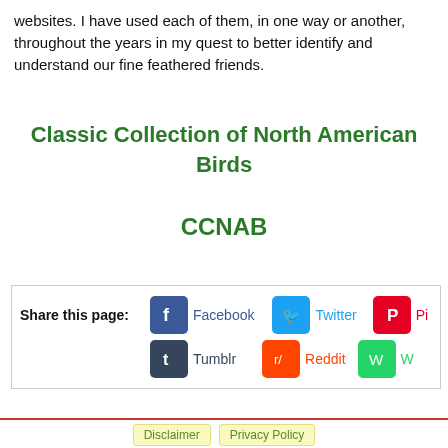websites. I have used each of them, in one way or another, throughout the years in my quest to better identify and understand our fine feathered friends.
Classic Collection of North American Birds
CCNAB
[Figure (other): Share this page social media buttons: Facebook, Twitter, Pinterest, Tumblr, Reddit, WhatsApp]
Disclaimer   Privacy Policy   Copyright © and Trademark protected, www.birds-of-north...